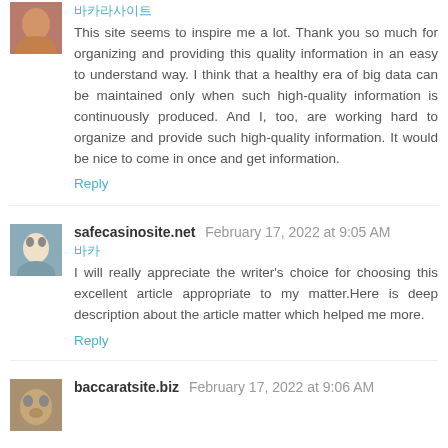[Figure (photo): Avatar image of first commenter - partial view at top]
바카라사이트
This site seems to inspire me a lot. Thank you so much for organizing and providing this quality information in an easy to understand way. I think that a healthy era of big data can be maintained only when such high-quality information is continuously produced. And I, too, are working hard to organize and provide such high-quality information. It would be nice to come in once and get information.
Reply
[Figure (photo): Avatar image of safecasinosite.net commenter]
safecasinosite.net  February 17, 2022 at 9:05 AM
바카
I will really appreciate the writer's choice for choosing this excellent article appropriate to my matter.Here is deep description about the article matter which helped me more.
Reply
[Figure (photo): Avatar image of baccaratsite.biz commenter]
baccaratsite.biz  February 17, 2022 at 9:06 AM